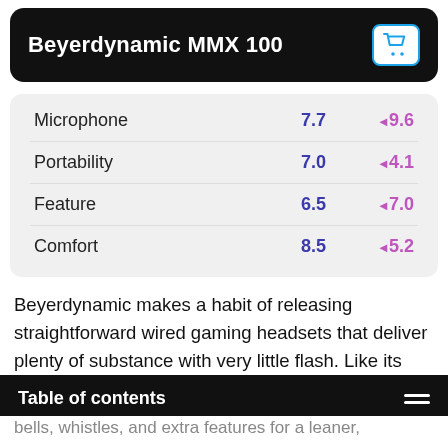Beyerdynamic MMX 100
| Category | Score | Comparison |
| --- | --- | --- |
| Microphone | 7.7 | ◂ 9.6 |
| Portability | 7.0 | ◂ 4.1 |
| Feature | 6.5 | ◂ 7.0 |
| Comfort | 8.5 | ◂ 5.2 |
Beyerdynamic makes a habit of releasing straightforward wired gaming headsets that deliver plenty of substance with very little flash. Like its more expensive sibling, the Beyerdynamic MMX 100 fits that mold very well. This gaming headset
Table of contents
bells, whistles, and extra features for a leaner,